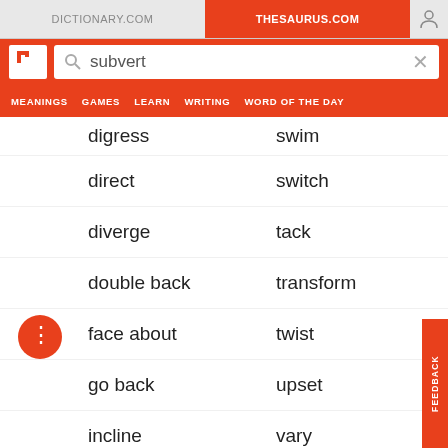DICTIONARY.COM | THESAURUS.COM
subvert
MEANINGS  GAMES  LEARN  WRITING  WORD OF THE DAY
digress
swim
direct
switch
diverge
tack
double back
transform
face about
twist
go back
upset
incline
vary
inverse
veer
invert
volte-face